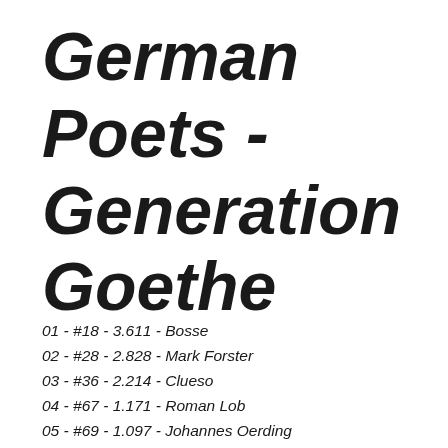German Poets - Generation Goethe
01 - #18 - 3.611 - Bosse
02 - #28 - 2.828 - Mark Forster
03 - #36 - 2.214 - Clueso
04 - #67 - 1.171 - Roman Lob
05 - #69 - 1.097 - Johannes Oerding
06 - #73 - 1.025 - Cro
07 - #77 - 0.989 - Lena Meyer-Landrut